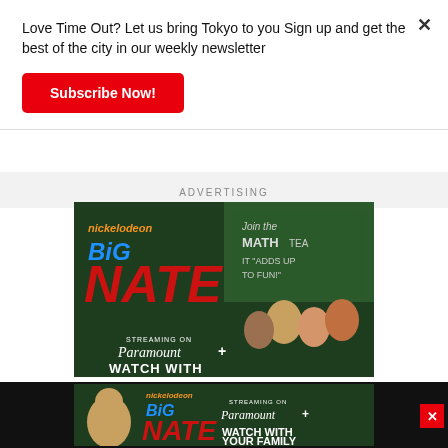Love Time Out? Let us bring Tokyo to you Sign up and get the best of the city in our weekly newsletter
Subscribe Now!
ADVERTISING
[Figure (illustration): Big Nate Nickelodeon animated show advertisement for Paramount+ streaming. Shows animated characters in school setting with 'Join the Math Team - It Adds Up To Fun!' on chalkboard. Large red NATE text, blue BiG text, orange nickelodeon branding, Paramount+ logo, WATCH WITH text.]
[Figure (illustration): Bottom strip banner ad for Big Nate on Paramount+. Shows animated character, nickelodeon branding, BiG NATE logo, Streaming on Paramount+ logo, WATCH WITH YOUR FAMILY text.]